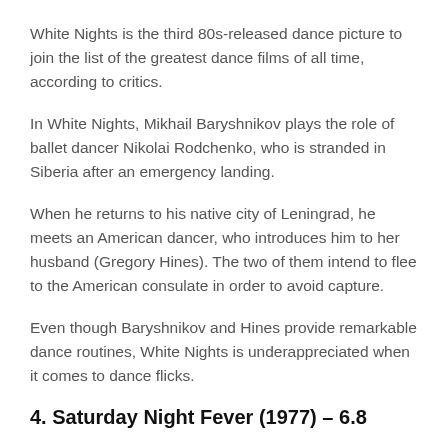White Nights is the third 80s-released dance picture to join the list of the greatest dance films of all time, according to critics.
In White Nights, Mikhail Baryshnikov plays the role of ballet dancer Nikolai Rodchenko, who is stranded in Siberia after an emergency landing.
When he returns to his native city of Leningrad, he meets an American dancer, who introduces him to her husband (Gregory Hines). The two of them intend to flee to the American consulate in order to avoid capture.
Even though Baryshnikov and Hines provide remarkable dance routines, White Nights is underappreciated when it comes to dance flicks.
4. Saturday Night Fever (1977) – 6.8